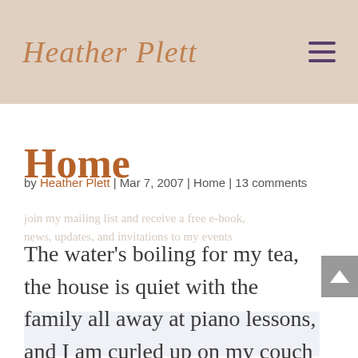Heather Plett
Home
by Heather Plett | Mar 7, 2007 | Home | 13 comments
The water's boiling for my tea, the house is quiet with the family all away at piano lessons, and I am curled up on my couch – home again. Another flight. Another magical